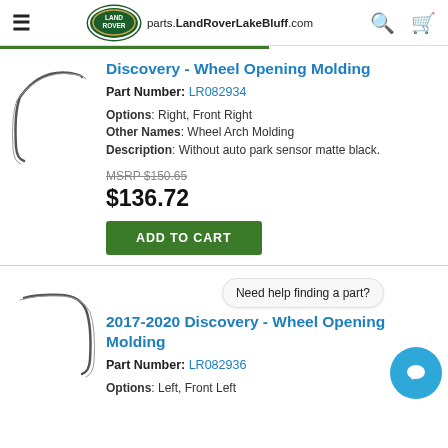parts.LandRoverLakeBluff.com
[Figure (photo): Line drawing of a wheel arch molding (curved trim piece) for Land Rover Discovery]
Discovery - Wheel Opening Molding
Part Number: LR082934
Options: Right, Front Right
Other Names: Wheel Arch Molding
Description: Without auto park sensor matte black.
MSRP $150.65
$136.72
ADD TO CART
[Figure (photo): Line drawing of a wheel arch molding (curved trim piece) for Land Rover Discovery]
2017-2020 Discovery - Wheel Opening Molding
Part Number: LR082936
Options: Left, Front Left
Need help finding a part?